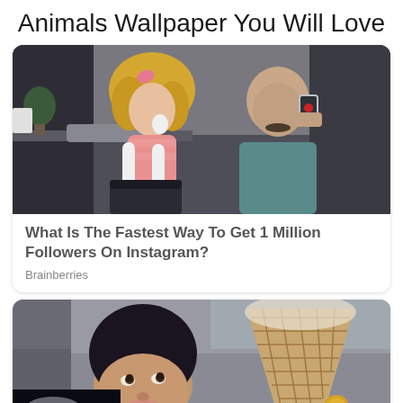Animals Wallpaper You Will Love
[Figure (photo): Mirror selfie of two people in costume: a woman with blonde curly hair wearing a pink feathery outfit and long white gloves, and a bald man with a mustache in a teal jacket taking the photo with a phone, in what appears to be a dressing room or bathroom]
What Is The Fastest Way To Get 1 Million Followers On Instagram?
Brainberries
[Figure (photo): Close-up of a young woman with dark hair looking upward, holding a large waffle ice cream cone]